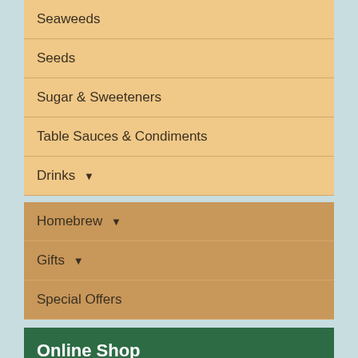Seaweeds
Seeds
Sugar & Sweeteners
Table Sauces & Condiments
Drinks ▼
Homebrew ▼
Gifts ▼
Special Offers
Online Shop
Find a product
Shop by Brand
Shop by Requirement
Vegetarian